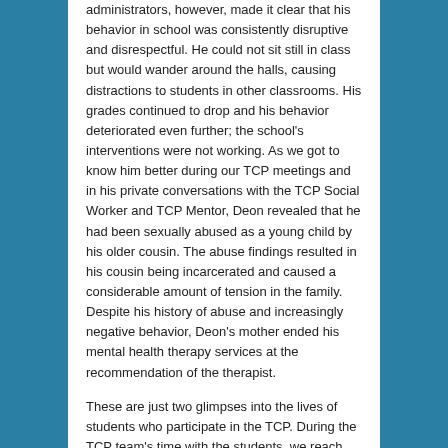administrators, however, made it clear that his behavior in school was consistently disruptive and disrespectful. He could not sit still in class but would wander around the halls, causing distractions to students in other classrooms. His grades continued to drop and his behavior deteriorated even further; the school's interventions were not working. As we got to know him better during our TCP meetings and in his private conversations with the TCP Social Worker and TCP Mentor, Deon revealed that he had been sexually abused as a young child by his older cousin. The abuse findings resulted in his cousin being incarcerated and caused a considerable amount of tension in the family. Despite his history of abuse and increasingly negative behavior, Deon's mother ended his mental health therapy services at the recommendation of the therapist.
These are just two glimpses into the lives of students who participate in the TCP. During the TCP team's time with the students, we reach out to their families and provide support through referrals to appropriate services and follow up on those